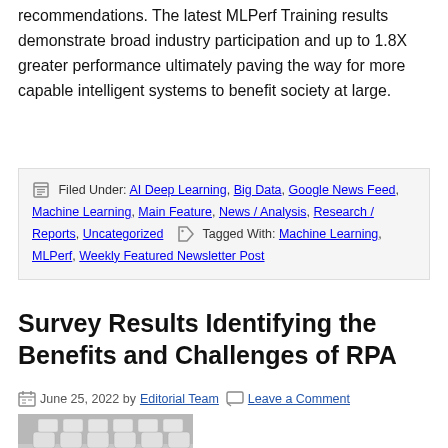recommendations. The latest MLPerf Training results demonstrate broad industry participation and up to 1.8X greater performance ultimately paving the way for more capable intelligent systems to benefit society at large.
Filed Under: AI Deep Learning, Big Data, Google News Feed, Machine Learning, Main Feature, News / Analysis, Research / Reports, Uncategorized   Tagged With: Machine Learning, MLPerf, Weekly Featured Newsletter Post
Survey Results Identifying the Benefits and Challenges of RPA
June 25, 2022 by Editorial Team   Leave a Comment
[Figure (photo): 3D rendering of keyboard-like blocks with a cyan/teal RPA button in the center]